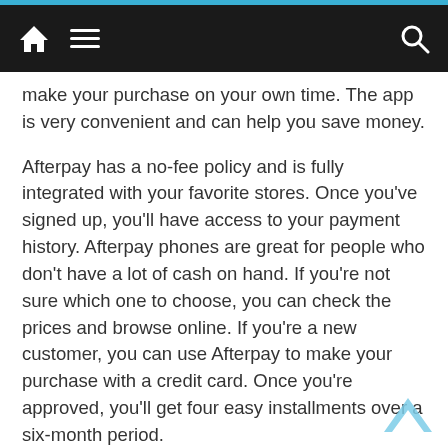Navigation bar with home, menu, and search icons
make your purchase on your own time. The app is very convenient and can help you save money.
Afterpay has a no-fee policy and is fully integrated with your favorite stores. Once you've signed up, you'll have access to your payment history. Afterpay phones are great for people who don't have a lot of cash on hand. If you're not sure which one to choose, you can check the prices and browse online. If you're a new customer, you can use Afterpay to make your purchase with a credit card. Once you're approved, you'll get four easy installments over a six-month period.
Afterpay has a no-fee policy for most purchases, which means you can make an initial payment and then pay the rest later. Afterpay users can